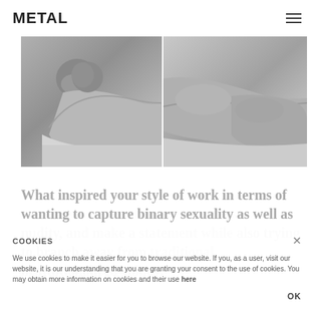METAL
[Figure (photo): Two black-and-white photographs side by side of a nude figure lying on their side on bed sheets, one photo showing the upper body/face and the other showing the lower body.]
What inspired your style of work in terms of wanting to capture binary sexuality as well as nudity, and make a statement while also trying to branch away from traditional institutionalized values?
COOKIES
We use cookies to make it easier for you to browse our website. If you, as a user, visit our website, it is our understanding that you are granting your consent to the use of cookies. You may obtain more information on cookies and their use here
OK